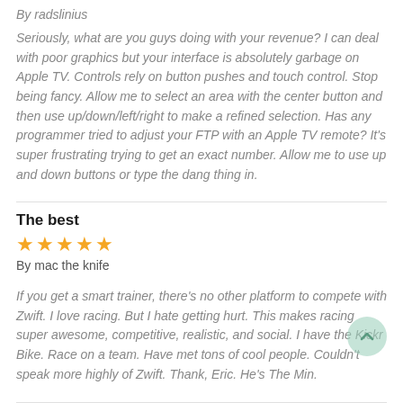By radslinius
Seriously, what are you guys doing with your revenue? I can deal with poor graphics but your interface is absolutely garbage on Apple TV. Controls rely on button pushes and touch control. Stop being fancy. Allow me to select an area with the center button and then use up/down/left/right to make a refined selection. Has any programmer tried to adjust your FTP with an Apple TV remote? It's super frustrating trying to get an exact number. Allow me to use up and down buttons or type the dang thing in.
The best
★★★★★
By mac the knife
If you get a smart trainer, there's no other platform to compete with Zwift. I love racing. But I hate getting hurt. This makes racing super awesome, competitive, realistic, and social. I have the Kickr Bike. Race on a team. Have met tons of cool people. Couldn't speak more highly of Zwift. Thank, Eric. He's The Min.
Life changing